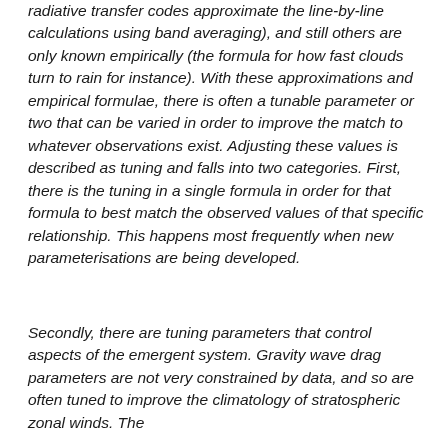radiative transfer codes approximate the line-by-line calculations using band averaging), and still others are only known empirically (the formula for how fast clouds turn to rain for instance). With these approximations and empirical formulae, there is often a tunable parameter or two that can be varied in order to improve the match to whatever observations exist. Adjusting these values is described as tuning and falls into two categories. First, there is the tuning in a single formula in order for that formula to best match the observed values of that specific relationship. This happens most frequently when new parameterisations are being developed.
Secondly, there are tuning parameters that control aspects of the emergent system. Gravity wave drag parameters are not very constrained by data, and so are often tuned to improve the climatology of stratospheric zonal winds. The